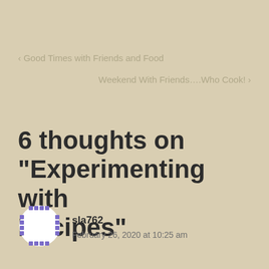< Good Times with Friends and Food
Weekend With Friends….Who Cook! >
6 thoughts on “Experimenting with Recipes”
[Figure (illustration): Circular avatar icon with blue/purple dashed border and white interior, representing user sla762]
sla762
February 26, 2020 at 10:25 am